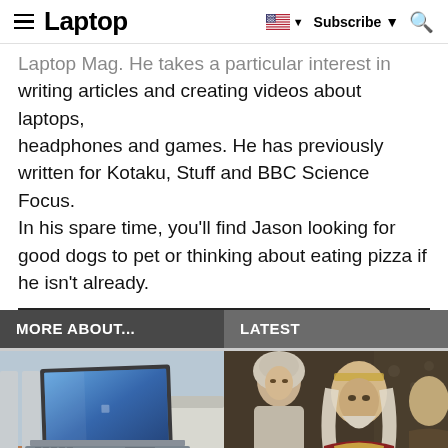Laptop — Subscribe
Laptop Mag. He takes a particular interest in writing articles and creating videos about laptops, headphones and games. He has previously written for Kotaku, Stuff and BBC Science Focus. In his spare time, you'll find Jason looking for good dogs to pet or thinking about eating pizza if he isn't already.
MORE ABOUT...
LATEST
[Figure (photo): Microsoft Surface Pro 7 laptop on an outdoor wooden table]
[Figure (photo): Scene from a medieval fantasy TV show with two characters]